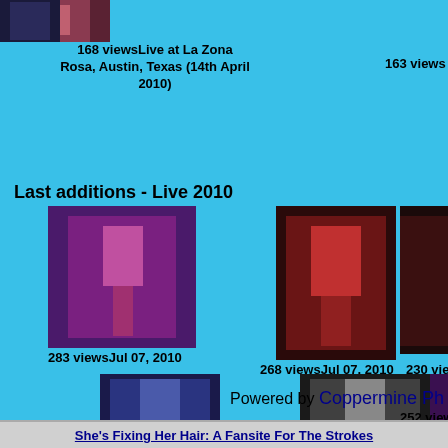[Figure (photo): Concert photo top-left, partial view at top]
[Figure (photo): Concert photo top-center, partial view at top]
168 viewsLive at La Zona Rosa, Austin, Texas (14th April 2010)
163 views
Last additions - Live 2010
[Figure (photo): Singer on stage, purple/red lighting, microphone]
283 viewsJul 07, 2010
[Figure (photo): Singer on stage, red lighting, microphone]
268 viewsJul 07, 2010
[Figure (photo): Singer on stage, dark background, microphone]
230 viewsJul 07, 2010
[Figure (photo): Singer on stage, blue lighting, microphone]
229 viewsJul 07, 2010
[Figure (photo): Singer on stage, black and white, microphone]
256 viewsJul 07, 2010
[Figure (photo): Singer on stage, purple/red background, microphone]
252 viewsJul 07, 2010
Powered by Coppermine Ph
She's Fixing Her Hair: A Fansite For The Strokes